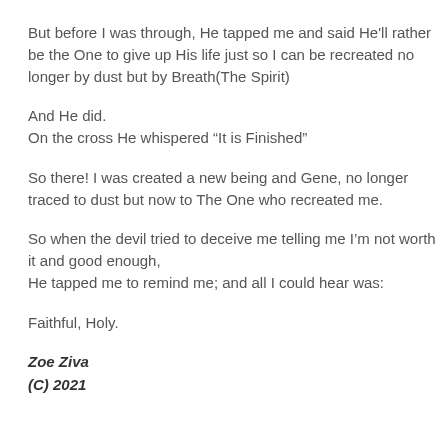But before I was through, He tapped me and said He'll rather be the One to give up His life just so I can be recreated no longer by dust but by Breath(The Spirit)
And He did.
On the cross He whispered “It is Finished”
So there! I was created a new being and Gene, no longer traced to dust but now to The One who recreated me.
So when the devil tried to deceive me telling me I’m not worth it and good enough,
He tapped me to remind me; and all I could hear was:
Faithful, Holy.
Zoe Ziva
(C) 2021